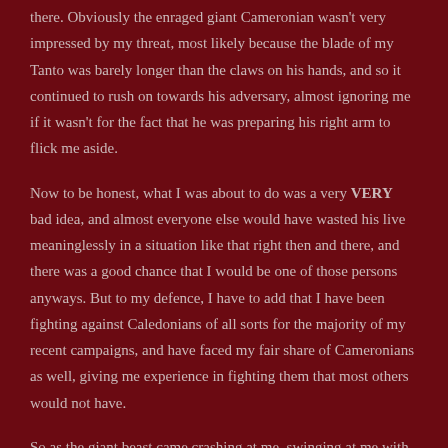there. Obviously the enraged giant Cameronian wasn't very impressed by my threat, most likely because the blade of my Tanto was barely longer than the claws on his hands, and so it continued to rush on towards his adversary, almost ignoring me if it wasn't for the fact that he was preparing his right arm to flick me aside.
Now to be honest, what I was about to do was a very VERY bad idea, and almost everyone else would have wasted his live meaninglessly in a situation like that right then and there, and there was a good chance that I would be one of those persons anyways. But to my defence, I have to add that I have been fighting against Caledonians of all sorts for the majority of my recent campaigns, and have faced my fair share of Cameronians as well, giving me experience in fighting them that most others would not have.
So as the giant beast came crashing at me, swinging at me with